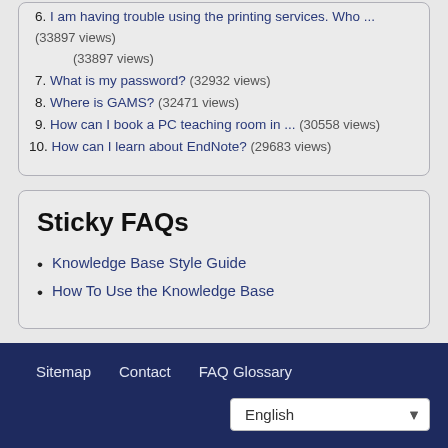6. I am having trouble using the printing services. Who ... (33897 views)
7. What is my password? (32932 views)
8. Where is GAMS? (32471 views)
9. How can I book a PC teaching room in ... (30558 views)
10. How can I learn about EndNote? (29683 views)
Sticky FAQs
Knowledge Base Style Guide
How To Use the Knowledge Base
Sitemap   Contact   FAQ Glossary   English